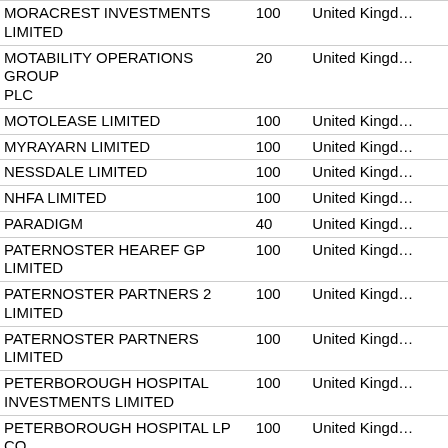| Company Name | % | Country |
| --- | --- | --- |
| MORACREST INVESTMENTS LIMITED | 100 | United Kingdom |
| MOTABILITY OPERATIONS GROUP PLC | 20 | United Kingdom |
| MOTOLEASE LIMITED | 100 | United Kingdom |
| MYRAYARN LIMITED | 100 | United Kingdom |
| NESSDALE LIMITED | 100 | United Kingdom |
| NHFA LIMITED | 100 | United Kingdom |
| PARADIGM | 40 | United Kingdom |
| PATERNOSTER HEAREF GP LIMITED | 100 | United Kingdom |
| PATERNOSTER PARTNERS 2 LIMITED | 100 | United Kingdom |
| PATERNOSTER PARTNERS LIMITED | 100 | United Kingdom |
| PETERBOROUGH HOSPITAL INVESTMENTS LIMITED | 100 | United Kingdom |
| PETERBOROUGH HOSPITAL LP CO. | 100 | United Kingdom |
| PROJECT EQUITY CARRIED INTEREST M P LIMITED | 100 | United Kingdom |
| PROPERTY VISION HOLDINGS LIMITED | 100 | United Kingdom |
| PROPERTY VISION LIMITED | 100 | United Kingdom |
| PRUDENTIAL CLIENT HSBC GIS NOMINEE | 100 | United Kingdom |
| PNPAC CENTRE 2 LIMITED | 100 | United Kingdom |